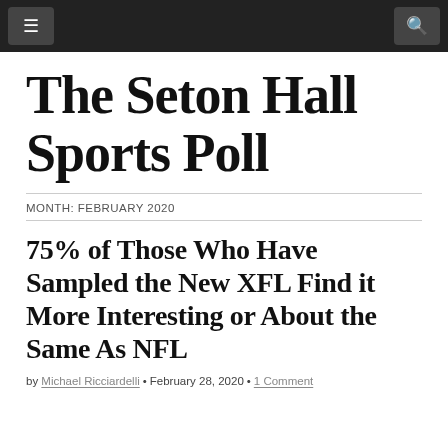≡ [menu button] | [search button]
The Seton Hall Sports Poll
MONTH: FEBRUARY 2020
75% of Those Who Have Sampled the New XFL Find it More Interesting or About the Same As NFL
by Michael Ricciardelli • February 28, 2020 • 1 Comment